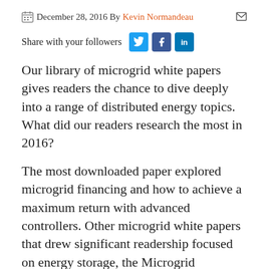December 28, 2016 By Kevin Normandeau
Share with your followers
Our library of microgrid white papers gives readers the chance to dive deeply into a range of distributed energy topics. What did our readers research the most in 2016?
The most downloaded paper explored microgrid financing and how to achieve a maximum return with advanced controllers. Other microgrid white papers that drew significant readership focused on energy storage, the Microgrid Knowledge annual survey, renewable